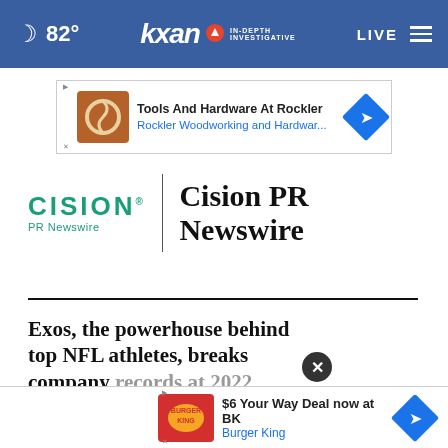82° KXAN IN-DEPTH INVESTIGATIVE LIVE
[Figure (other): Advertisement banner: Tools And Hardware At Rockler - Rockler Woodworking and Hardwar...]
[Figure (logo): Cision PR Newswire logo with teal CISION text and PR Newswire subtitle, vertical divider, and bold serif Cision PR Newswire title text]
Exos, the powerhouse behind top NFL athletes, breaks company records at 2022 NFL draf...
[Figure (logo): Exos company logo in teal/green]
[Figure (other): Advertisement banner: $6 Your Way Deal now at BK - Burger King]